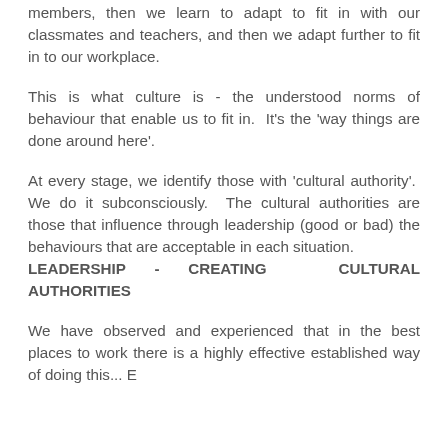At first we learn to fit in with our family members, then we learn to adapt to fit in with our classmates and teachers, and then we adapt further to fit in to our workplace.
This is what culture is - the understood norms of behaviour that enable us to fit in.  It's the 'way things are done around here'.
At every stage, we identify those with 'cultural authority'.  We do it subconsciously.  The cultural authorities are those that influence through leadership (good or bad) the behaviours that are acceptable in each situation.
LEADERSHIP - CREATING CULTURAL AUTHORITIES
We have observed and experienced that in the best places to work there is a highly effective established way of doing things. E...